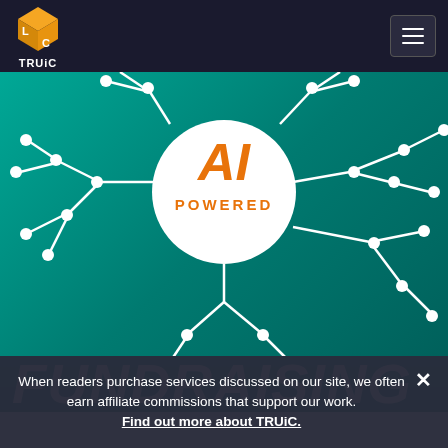[Figure (logo): TRUiC logo: orange and yellow 3D cube with letters L and C, with TRUiC text below]
[Figure (illustration): AI-powered brain circuit board illustration on teal/green gradient background, white circuit lines and nodes emanating from central white circle with orange 'AI POWERED' text]
FUNDRAISING
When readers purchase services discussed on our site, we often earn affiliate commissions that support our work. Find out more about TRUiC.